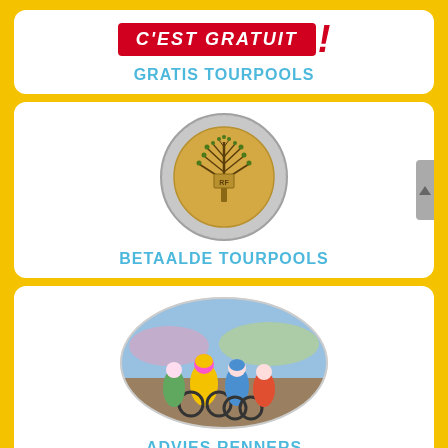[Figure (illustration): Red banner with 'C'EST GRATUIT!' text and red exclamation mark]
GRATIS TOURPOOLS
[Figure (photo): Gold/silver 2 euro coin with tree design]
BETAALDE TOURPOOLS
[Figure (photo): Oval-shaped photo of Tour de France cyclists racing, rider in yellow jersey prominent]
ADVIES RENNERS